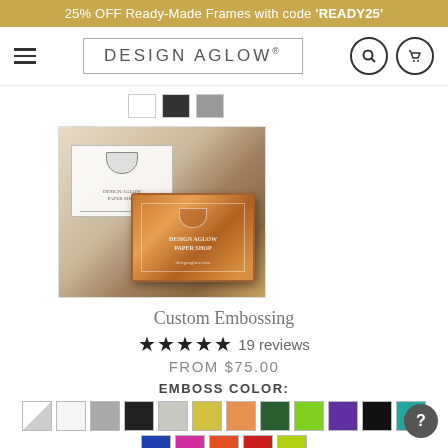25% OFF Ready-Made Frames with code 'READY25'
[Figure (logo): Design Aglow logo with hamburger menu, search and cart icons]
[Figure (photo): Custom embossing stamp showing Design Aglow Paper Shop design with copper/bronze metal embossing die]
Custom Embossing
★★★★★ 19 reviews
FROM $75.00
EMBOSS COLOR:
[Figure (other): Color swatches grid showing multiple emboss color options including white, gray, black, silver, gold/yellow, orange, dark green, lime green, purple, black, teal, blue, pink, orange-red, red, yellow-green]